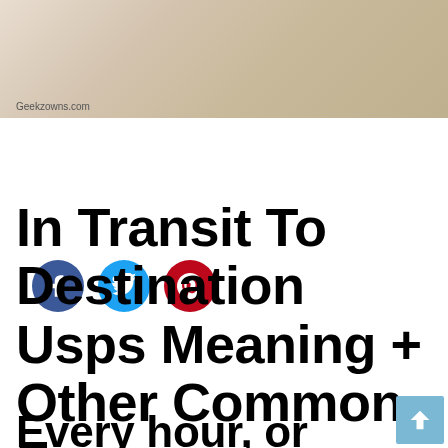[Figure (photo): Photo of an envelope or mail item, beige/cream colored background, watermarked with Geekzowns.com]
Geekzowns.com
[Figure (infographic): Social media share buttons: Facebook (blue circle with f), Twitter (light blue circle with bird), Pinterest (dark red circle with P)]
In Transit To Destination Usps Meaning + Other Common Faqs
Every hour, or every minute